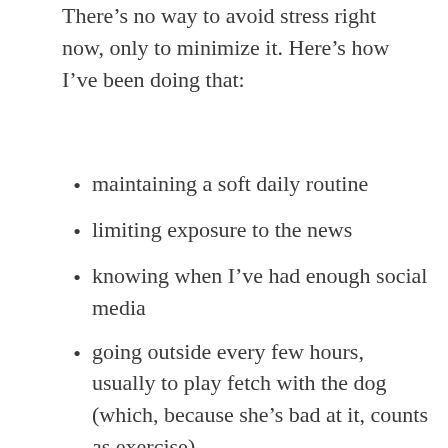There’s no way to avoid stress right now, only to minimize it. Here’s how I’ve been doing that:
maintaining a soft daily routine
limiting exposure to the news
knowing when I’ve had enough social media
going outside every few hours, usually to play fetch with the dog (which, because she’s bad at it, counts as exercise)
trying to keep a good sense of humor and stay flexible when things don’t go according to plan
remembering that I am smart and